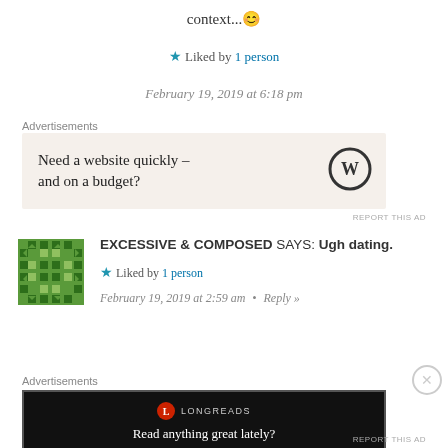context... 😊
★ Liked by 1 person
February 19, 2019 at 6:18 pm
Advertisements
[Figure (advertisement): WordPress ad: Need a website quickly – and on a budget?]
REPORT THIS AD
EXCESSIVE & COMPOSED SAYS: Ugh dating.
★ Liked by 1 person
February 19, 2019 at 2:59 am • Reply »
Advertisements
[Figure (advertisement): Longreads ad: Read anything great lately?]